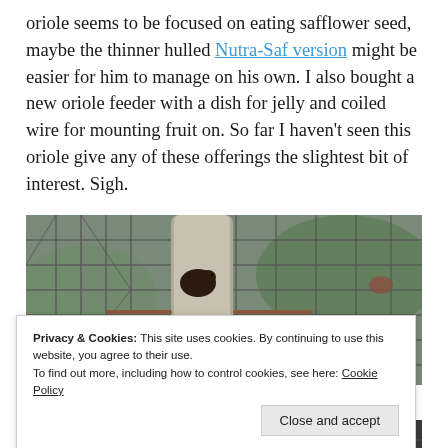oriole seems to be focused on eating safflower seed, maybe the thinner hulled Nutra-Saf version might be easier for him to manage on his own. I also bought a new oriole feeder with a dish for jelly and coiled wire for mounting fruit on. So far I haven't seen this oriole give any of these offerings the slightest bit of interest. Sigh.
[Figure (photo): Close-up photograph of a bird feeder with metal cage/wire grid, a cylindrical suet cage or feeder pole visible in the center, with what appears to be a bird perched at it. Background is blurred green/outdoor setting.]
Privacy & Cookies: This site uses cookies. By continuing to use this website, you agree to their use.
To find out more, including how to control cookies, see here: Cookie Policy
[Figure (photo): Partial bottom photograph, cut off, showing what appears to be a bird or feeder scene outdoors.]